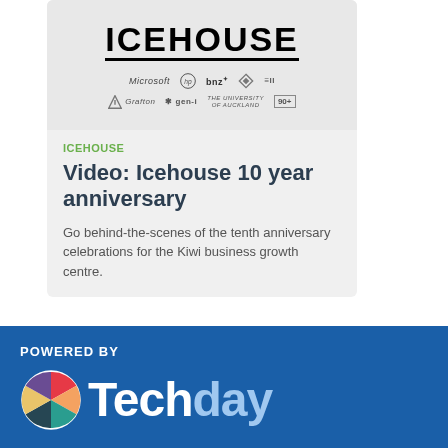[Figure (logo): The Icehouse logo with sponsor logos including Microsoft, HP, BNZ, Grafton, gen-i, University of Auckland, and 90+ brand]
ICEHOUSE
Video: Icehouse 10 year anniversary
Go behind-the-scenes of the tenth anniversary celebrations for the Kiwi business growth centre.
[Figure (logo): Powered by Techday logo banner on blue background]